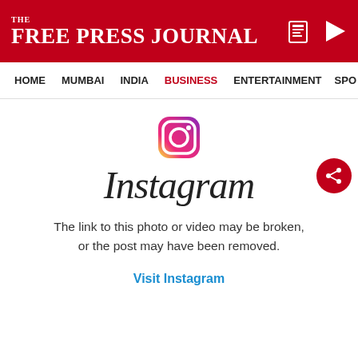THE FREE PRESS JOURNAL
HOME   MUMBAI   INDIA   BUSINESS   ENTERTAINMENT   SPO
[Figure (screenshot): Instagram broken link error page embedded in Free Press Journal website. Shows the Instagram logo icon (gradient camera), the Instagram wordmark in italic script, an error message reading 'The link to this photo or video may be broken, or the post may have been removed.', and a blue link 'Visit Instagram'. A red circular share button is on the right. An ADVERTISEMENT label appears at the bottom.]
The link to this photo or video may be broken, or the post may have been removed.
Visit Instagram
ADVERTISEMENT